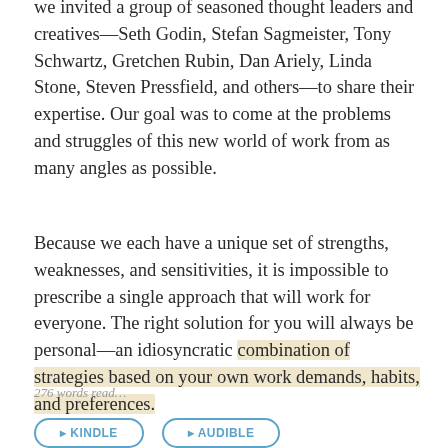we invited a group of seasoned thought leaders and creatives—Seth Godin, Stefan Sagmeister, Tony Schwartz, Gretchen Rubin, Dan Ariely, Linda Stone, Steven Pressfield, and others—to share their expertise. Our goal was to come at the problems and struggles of this new world of work from as many angles as possible.
Because we each have a unique set of strengths, weaknesses, and sensitivities, it is impossible to prescribe a single approach that will work for everyone. The right solution for you will always be personal—an idiosyncratic combination of strategies based on your own work demands, habits, and preferences.
276 words read…